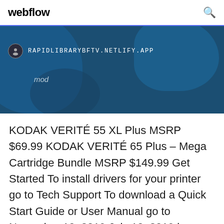webflow
[Figure (screenshot): A browser screenshot showing a Webflow-hosted site at rapidlibrarybftv.netlify.app with a dark blue banner background, a small user icon, the URL in monospace white text, and the word 'mod' in light text.]
KODAK VERITÉ 55 XL Plus MSRP $69.99 KODAK VERITÉ 65 Plus – Mega Cartridge Bundle MSRP $149.99 Get Started To install drivers for your printer go to Tech Support To download a Quick Start Guide or User Manual go to November 10, 2019 July 10, 2019 by